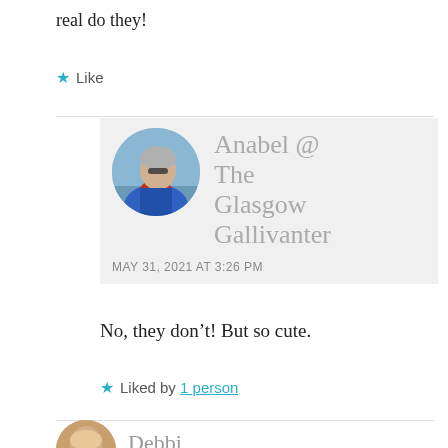real do they!
★ Like
Anabel @ The Glasgow Gallivanter
MAY 31, 2021 AT 3:26 PM
No, they don't! But so cute.
★ Liked by 1 person
[Figure (photo): Circular avatar photo of a person with grey hair wearing a blue jacket, viewed from the side, with water and sky in the background]
Debbi